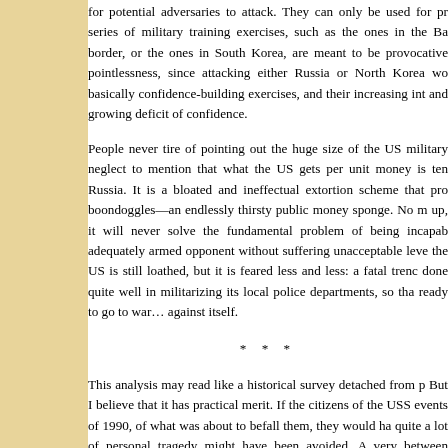for potential adversaries to attack. They can only be used for pr series of military training exercises, such as the ones in the Ba border, or the ones in South Korea, are meant to be provocative pointlessness, since attacking either Russia or North Korea wo basically confidence-building exercises, and their increasing int and growing deficit of confidence.
People never tire of pointing out the huge size of the US military neglect to mention that what the US gets per unit money is ten Russia. It is a bloated and ineffectual extortion scheme that pro boondoggles—an endlessly thirsty public money sponge. No m up, it will never solve the fundamental problem of being incapab adequately armed opponent without suffering unacceptable leve the US is still loathed, but it is feared less and less: a fatal trenc done quite well in militarizing its local police departments, so th ready to go to war… against itself.
* * *
This analysis may read like a historical survey detached from p But I believe that it has practical merit. If the citizens of the USS events of 1990, of what was about to befall them, they would ha quite a lot of personal tragedy might have been avoided. A very between collapse avoidance (which is futile; all empires collaps